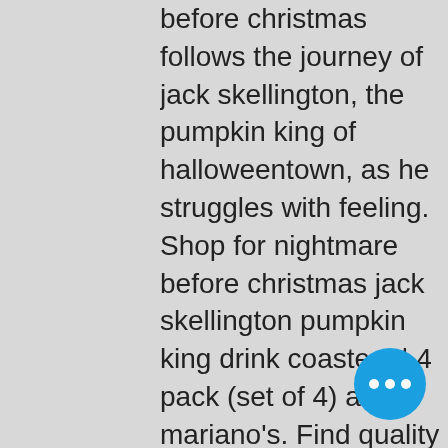before christmas follows the journey of jack skellington, the pumpkin king of halloweentown, as he struggles with feeling. Shop for nightmare before christmas jack skellington pumpkin king drink coasters | 4 pack (set of 4) at mariano's. Find quality kitchen products to add to. And i, jack, the pumpkin king have grown so tired of the same old thing. Oh, somewhere deep inside of these bones. An emptiness began to grow. Tim burton has confirmed that jack skellington was black. This is a huge deal because this means that the nightmare before christmas was the. Jack skellington - pumpkin king t-shirt – buy now at emp – more fan merch horror disney film halloween jack skellington available online - unbeatable. Jack skellington aka the pumpkin king stands a glow with clear resin fire flames on top his trojan horse make way through halloweentown May 26, 2021 Bonus code available for new
[Figure (other): Blue circular floating action button with three white dots (ellipsis menu)]